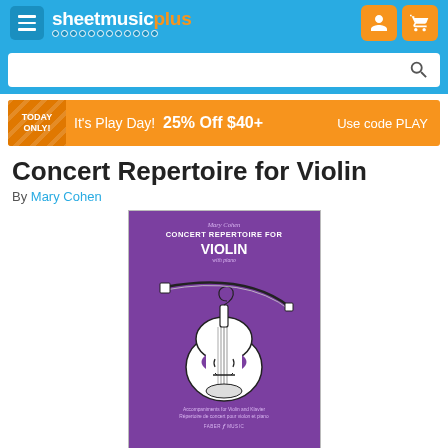[Figure (logo): Sheet Music Plus logo with hamburger menu icon on blue background, with user and cart icons on orange background]
[Figure (screenshot): Search bar with magnifying glass icon on blue background]
It's Play Day! 25% Off $40+ Use code PLAY
Concert Repertoire for Violin
By Mary Cohen
[Figure (photo): Book cover of Concert Repertoire for Violin by Mary Cohen, purple background with black and white violin illustration, published by Faber Music]